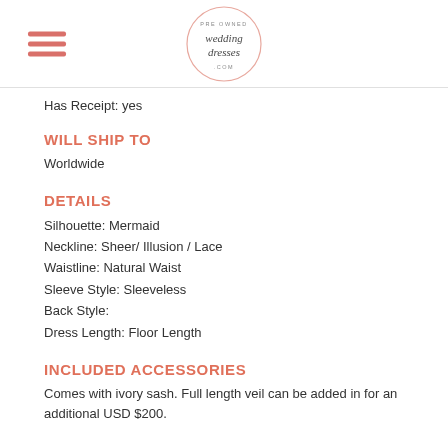Pre Owned Wedding Dresses .com
Has Receipt: yes
WILL SHIP TO
Worldwide
DETAILS
Silhouette: Mermaid
Neckline: Sheer/ Illusion / Lace
Waistline: Natural Waist
Sleeve Style: Sleeveless
Back Style:
Dress Length: Floor Length
INCLUDED ACCESSORIES
Comes with ivory sash. Full length veil can be added in for an additional USD $200.